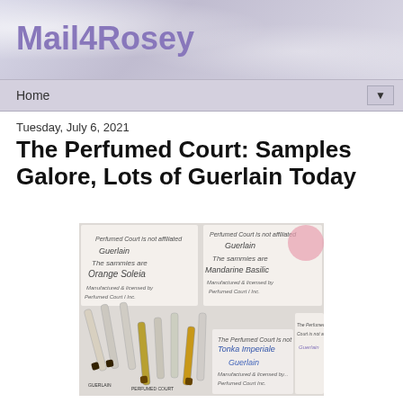Mail4Rosey
Home
Tuesday, July 6, 2021
The Perfumed Court: Samples Galore, Lots of Guerlain Today
[Figure (photo): Photograph of multiple perfume sample vials lying on a white surface next to handwritten label cards reading Guerlain Orange Soleia, Guerlain Mandarine Basilic, Tonka Imperiale, and Guerlain.]